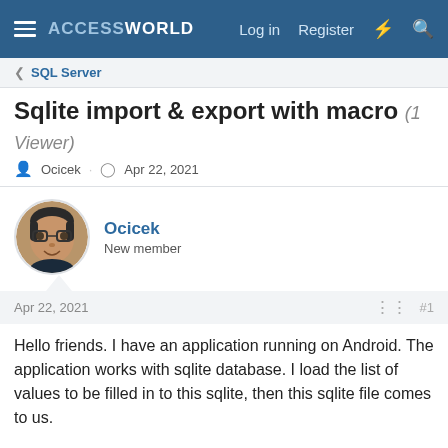ACCESSWORLD — Log in | Register
< SQL Server
Sqlite import & export with macro (1 Viewer)
Ocicek · Apr 22, 2021
Ocicek
New member
Apr 22, 2021  #1
Hello friends. I have an application running on Android. The application works with sqlite database. I load the list of values to be filled in to this sqlite, then this sqlite file comes to us.
I need to do the empty and filled version of this sqlite database with microsoft access database from now on.
I installed the sqlite 3 odbc driver. So I can create this file. And I can restore it. There is no problem here, but the problem is that